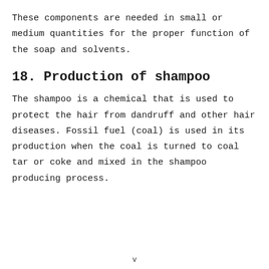These components are needed in small or medium quantities for the proper function of the soap and solvents.
18. Production of shampoo
The shampoo is a chemical that is used to protect the hair from dandruff and other hair diseases. Fossil fuel (coal) is used in its production when the coal is turned to coal tar or coke and mixed in the shampoo producing process.
v